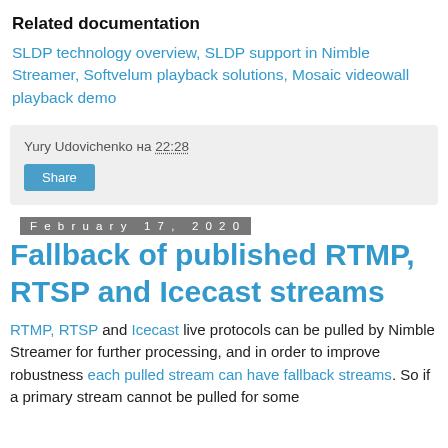Related documentation
SLDP technology overview, SLDP support in Nimble Streamer, Softvelum playback solutions, Mosaic videowall playback demo
Yury Udovichenko на 22:28
Share
February 17, 2020
Fallback of published RTMP, RTSP and Icecast streams
RTMP, RTSP and Icecast live protocols can be pulled by Nimble Streamer for further processing, and in order to improve robustness each pulled stream can have fallback streams. So if a primary stream cannot be pulled for some